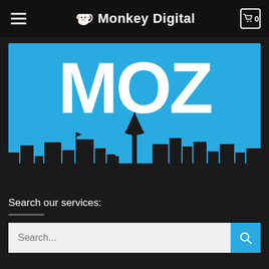Monkey Digital — navigation header with hamburger menu and cart button showing 0
[Figure (logo): MOZ logo banner with white bold MOZ text on a cyan/blue background, with a dark silhouette skyline of Seattle (including Space Needle) at the bottom]
Search our services:
Search...